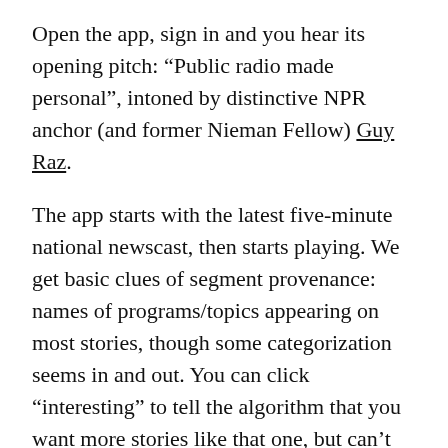Open the app, sign in and you hear its opening pitch: “Public radio made personal”, intoned by distinctive NPR anchor (and former Nieman Fellow) Guy Raz.
The app starts with the latest five-minute national newscast, then starts playing. We get basic clues of segment provenance: names of programs/topics appearing on most stories, though some categorization seems in and out. You can click “interesting” to tell the algorithm that you want more stories like that one, but can’t (yet) do a Pandora-like thumbs down.
The app’s content is evolving. At this point, it’s mainly NPR-produced material, so that means you won’t find APM’s Marketplace and This